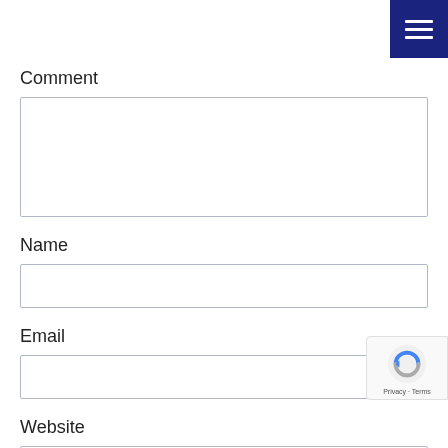[Figure (other): Dark navy blue hamburger menu button in top-right corner with three white horizontal lines]
Comment
Name
Email
Website
[Figure (other): reCAPTCHA badge overlay in bottom-right with spinning arrow icon and Privacy · Terms text]